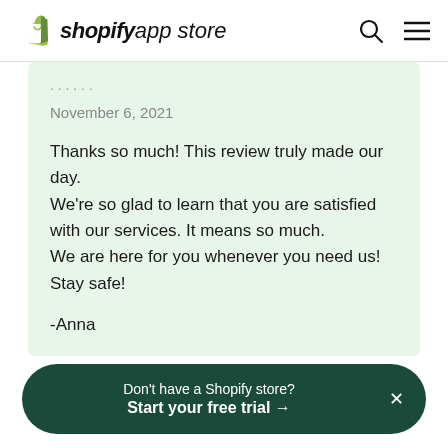shopify app store
November 6, 2021

Thanks so much! This review truly made our day.
We're so glad to learn that you are satisfied with our services. It means so much.
We are here for you whenever you need us!
Stay safe!

-Anna
Don't have a Shopify store? Start your free trial →